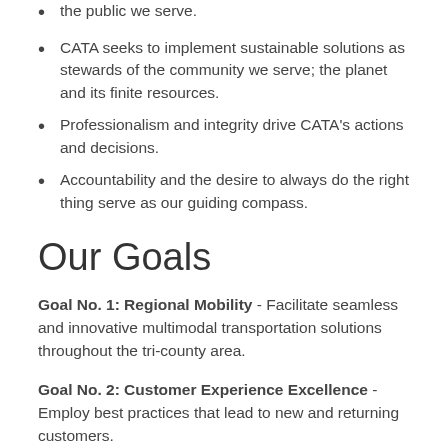the public we serve.
CATA seeks to implement sustainable solutions as stewards of the community we serve; the planet and its finite resources.
Professionalism and integrity drive CATA's actions and decisions.
Accountability and the desire to always do the right thing serve as our guiding compass.
Our Goals
Goal No. 1: Regional Mobility - Facilitate seamless and innovative multimodal transportation solutions throughout the tri-county area.
Goal No. 2: Customer Experience Excellence - Employ best practices that lead to new and returning customers.